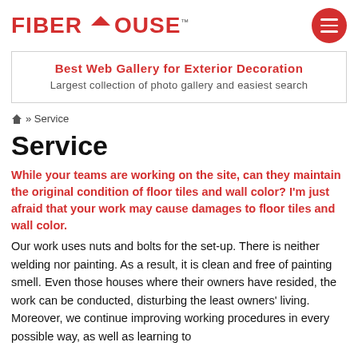FIBER HOUSE™
Best Web Gallery for Exterior Decoration
Largest collection of photo gallery and easiest search
🏠 » Service
Service
While your teams are working on the site, can they maintain the original condition of floor tiles and wall color? I'm just afraid that your work may cause damages to floor tiles and wall color.
Our work uses nuts and bolts for the set-up. There is neither welding nor painting. As a result, it is clean and free of painting smell. Even those houses where their owners have resided, the work can be conducted, disturbing the least owners' living. Moreover, we continue improving working procedures in every possible way, as well as learning to